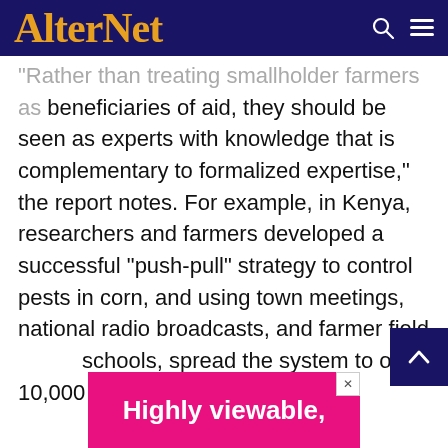AlterNet
Rather than treating smallholder farmers as beneficiaries of aid, they should be seen as experts with knowledge that is complementary to formalized expertise," the report notes. For example, in Kenya, researchers and farmers developed a successful "push-pull" strategy to control pests in corn, and using town meetings, national radio broadcasts, and farmer field schools, spread the system to over 10,000 households.
[Figure (other): Advertisement banner with pink background showing text 'Highly viewable,']